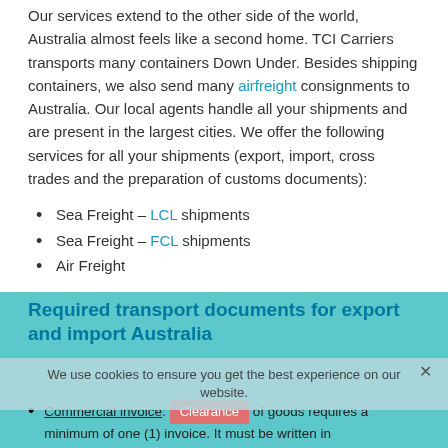Our services extend to the other side of the world, Australia almost feels like a second home. TCI Carriers transports many containers Down Under. Besides shipping containers, we also send many airfreight consignments to Australia. Our local agents handle all your shipments and are present in the largest cities. We offer the following services for all your shipments (export, import, cross trades and the preparation of customs documents):
Sea Freight – LCL shipments
Sea Freight – FCL shipments
Air Freight
Required transport documents for export and import Australia
We use cookies to ensure you get the best experience on our website.
Commercial invoice: Clearance of goods requires a minimum of one (1) invoice. It must be written in